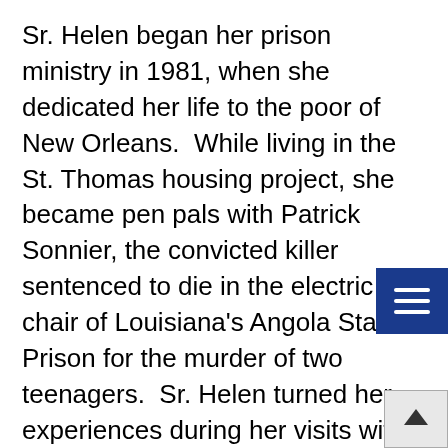Sr. Helen began her prison ministry in 1981, when she dedicated her life to the poor of New Orleans.  While living in the St. Thomas housing project, she became pen pals with Patrick Sonnier, the convicted killer sentenced to die in the electric chair of Louisiana's Angola State Prison for the murder of two teenagers.  Sr. Helen turned her experiences during her visits with Sonnier on death row into a book that not only made the 1994 American Library Associates Notable Book List, but also was nominated for a 1993 Pulitzer Prize. Dead Man Walking: An Eyewitness Account of the Death Penalty in the United States was number one on the New York Times Best Seller List for 31 weeks.  It became an international best seller, was developed into a major motion picture, and has